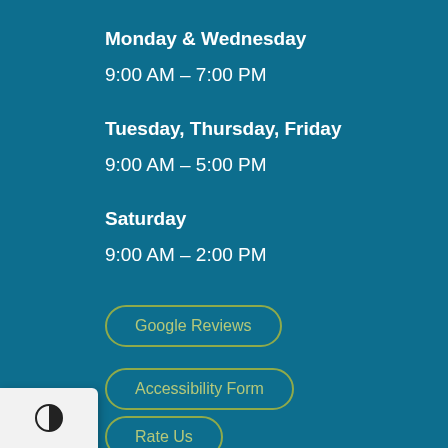Monday & Wednesday
9:00 AM – 7:00 PM
Tuesday, Thursday, Friday
9:00 AM – 5:00 PM
Saturday
9:00 AM – 2:00 PM
Google Reviews
Accessibility Form
Rate Us